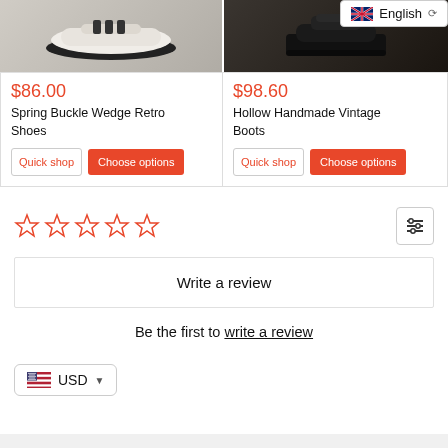[Figure (photo): White wedge retro shoes on gray background]
$86.00
Spring Buckle Wedge Retro Shoes
Quick shop
Choose options
[Figure (photo): Black vintage boots on wood floor background]
$98.60
Hollow Handmade Vintage Boots
Quick shop
Choose options
English (language dropdown)
☆☆☆☆☆ (star rating, 0 stars)
Write a review
Be the first to write a review
USD (currency selector)